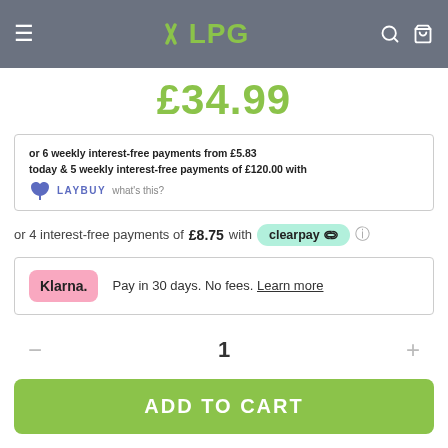XLPG
£34.99
or 6 weekly interest-free payments from £5.83 today & 5 weekly interest-free payments of £120.00 with LAYBUY what's this?
or 4 interest-free payments of £8.75 with clearpay
Klarna. Pay in 30 days. No fees. Learn more
1
ADD TO CART